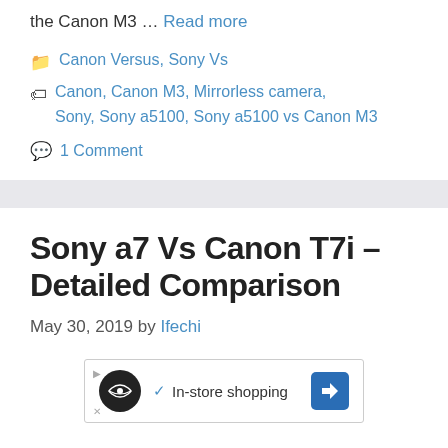the Canon M3 … Read more
Canon Versus, Sony Vs
Canon, Canon M3, Mirrorless camera, Sony, Sony a5100, Sony a5100 vs Canon M3
1 Comment
Sony a7 Vs Canon T7i – Detailed Comparison
May 30, 2019 by Ifechi
[Figure (other): Advertisement banner with circular logo, In-store shopping text with checkmark, and blue diamond arrow icon]